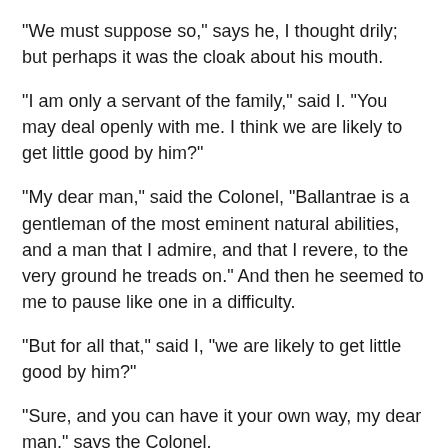"We must suppose so," says he, I thought drily; but perhaps it was the cloak about his mouth.
"I am only a servant of the family," said I. "You may deal openly with me. I think we are likely to get little good by him?"
"My dear man," said the Colonel, "Ballantrae is a gentleman of the most eminent natural abilities, and a man that I admire, and that I revere, to the very ground he treads on." And then he seemed to me to pause like one in a difficulty.
"But for all that," said I, "we are likely to get little good by him?"
"Sure, and you can have it your own way, my dear man," says the Colonel.